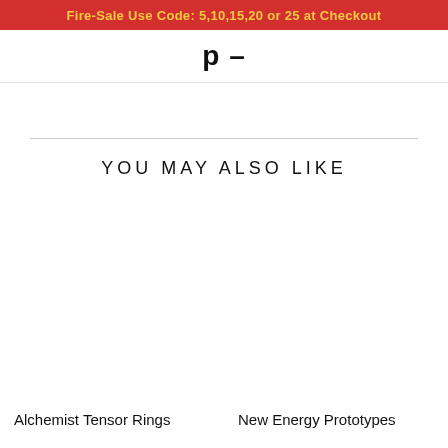Fire-Sale Use Code: 5,10,15,20 or 25 at Checkout
YOU MAY ALSO LIKE
Alchemist Tensor Rings
New Energy Prototypes